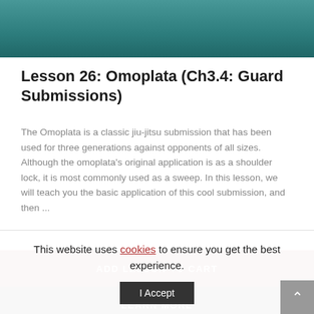[Figure (photo): Top portion of a martial arts / jiu-jitsu training photo, teal/green mat background]
Lesson 26: Omoplata (Ch3.4: Guard Submissions)
The Omoplata is a classic jiu-jitsu submission that has been used for three generations against opponents of all sizes. Although the omoplata's original application is as a shoulder lock, it is most commonly used as a sweep. In this lesson, we will teach you the basic application of this cool submission, and then ...
ADD LESSON TO CART
LEARN MORE
This website uses cookies to ensure you get the best experience.
I Accept